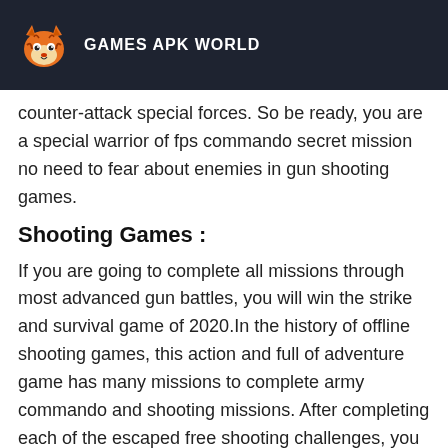GAMES APK WORLD
counter-attack special forces. So be ready, you are a special warrior of fps commando secret mission no need to fear about enemies in gun shooting games.
Shooting Games :
If you are going to complete all missions through most advanced gun battles, you will win the strike and survival game of 2020.In the history of offline shooting games, this action and full of adventure game has many missions to complete army commando and shooting missions. After completing each of the escaped free shooting challenges, you will be promoted in the next war and battle challenges. You have many weapons, such as sniper rifles, bullets, shotgun, grenades, and much more. So in these offline shooting games you should also unlock them to shoot all enemies. This angry SWAT task is the best game for you.